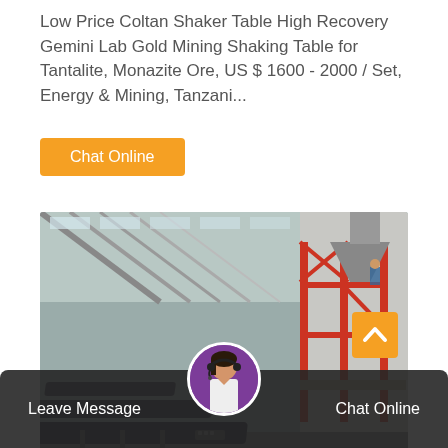Low Price Coltan Shaker Table High Recovery Gemini Lab Gold Mining Shaking Table for Tantalite, Monazite Ore, US $ 1600 - 2000 / Set, Energy & Mining, Tanzani...
Chat Online
[Figure (photo): Industrial warehouse interior showing rows of shaking tables (ore separation equipment) with red metal scaffolding and a large hopper/funnel structure in the background. Corrugated metal roof with skylights.]
Leave Message
Chat Online